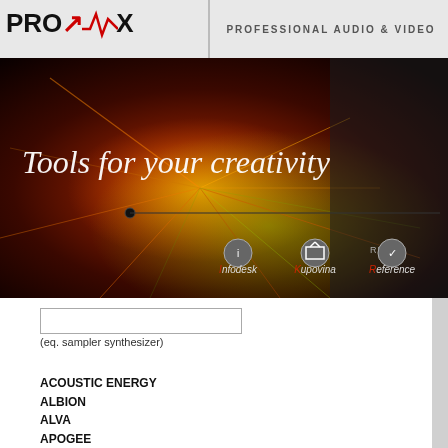PROVOX — PROFESSIONAL AUDIO & VIDEO
[Figure (illustration): Orange/red abstract energy burst banner with italic text 'Tools for your creativity' and navigation icons for Infodesk, Kupovina, Reference]
(eq. sampler synthesizer)
ACOUSTIC ENERGY
ALBION
ALVA
APOGEE
APOGEE LIGHTING
AUDIOLAB
BEHRINGER
BLACK RHODIUM
BOSPHORUS CYMBALS
BRAUNER
CHORD COMPANY
CME
COEF
COMO AUDIO
DAVE SMITH
DEAN MARKLEY
EDIFIER